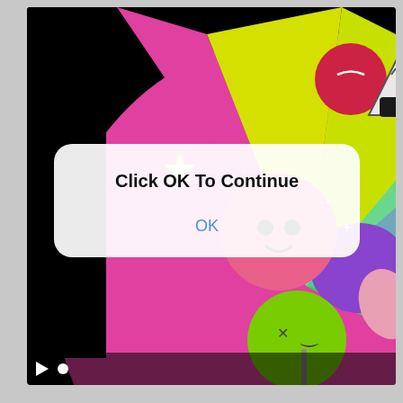[Figure (screenshot): A video player screenshot showing a colorful cartoon/anime-style illustration with characters on a spinning wheel background (pink, yellow, green segments). The video has black bars on left side. At the bottom of the video player are playback controls: a play triangle button and a white dot progress indicator.]
Click OK To Continue
OK